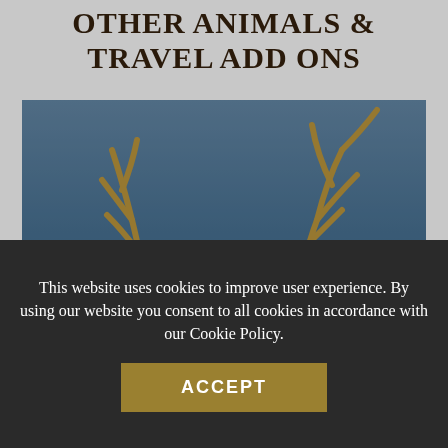OTHER ANIMALS & TRAVEL ADD ONS
[Figure (photo): Close-up photo of deer/stag antlers against a blue sky background, with white text overlay reading: 'There is really no doubt that New Zealand offers the worlds best ‘Estate’ red stag hunting. However many of our']
This website uses cookies to improve user experience. By using our website you consent to all cookies in accordance with our Cookie Policy.
ACCEPT